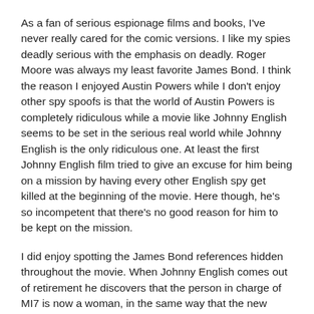As a fan of serious espionage films and books, I've never really cared for the comic versions. I like my spies deadly serious with the emphasis on deadly. Roger Moore was always my least favorite James Bond. I think the reason I enjoyed Austin Powers while I don't enjoy other spy spoofs is that the world of Austin Powers is completely ridiculous while a movie like Johnny English seems to be set in the serious real world while Johnny English is the only ridiculous one. At least the first Johnny English film tried to give an excuse for him being on a mission by having every other English spy get killed at the beginning of the movie. Here though, he's so incompetent that there's no good reason for him to be kept on the mission.
I did enjoy spotting the James Bond references hidden throughout the movie. When Johnny English comes out of retirement he discovers that the person in charge of MI7 is now a woman, in the same way that the new Bond films have a woman in charge of the secret service. Only instead of Judi Dench, here we have Gillian Anderson looking quite sexy as a brunette. One scene takes place in the armory that could easily be mistaken for any scene ever filmed in Q Division. There's a golf game reminiscent of the of the golf game from Goldfinger. An assassin in the film is an old woman dressed as a maid, much like Rosa Klebb in From Russia with